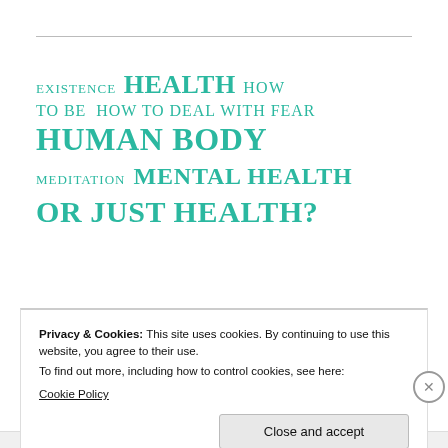[Figure (infographic): Tag cloud / word cloud with health-related terms in teal/green uppercase text at various sizes: EXISTENCE, HEALTH (large), HOW, TO BE, HOW TO DEAL WITH FEAR, HUMAN BODY (very large), MEDITATION, MENTAL HEALTH (large), OR JUST HEALTH? (large)]
Privacy & Cookies: This site uses cookies. By continuing to use this website, you agree to their use.
To find out more, including how to control cookies, see here:
Cookie Policy
Close and accept